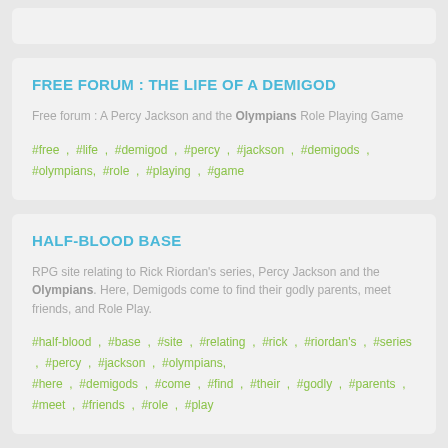(partial top card text, cut off)
FREE FORUM : THE LIFE OF A DEMIGOD
Free forum : A Percy Jackson and the Olympians Role Playing Game
#free , #life , #demigod , #percy , #jackson , #demigods , #olympians, #role , #playing , #game
HALF-BLOOD BASE
RPG site relating to Rick Riordan's series, Percy Jackson and the Olympians. Here, Demigods come to find their godly parents, meet friends, and Role Play.
#half-blood , #base , #site , #relating , #rick , #riordan's , #series , #percy , #jackson , #olympians, #here , #demigods , #come , #find , #their , #godly , #parents , #meet , #friends , #role , #play